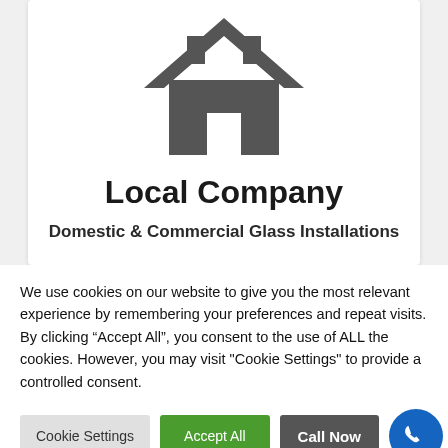[Figure (illustration): A dark gray house/home icon]
Local Company
Domestic & Commercial Glass Installations
We use cookies on our website to give you the most relevant experience by remembering your preferences and repeat visits. By clicking “Accept All”, you consent to the use of ALL the cookies. However, you may visit "Cookie Settings" to provide a controlled consent.